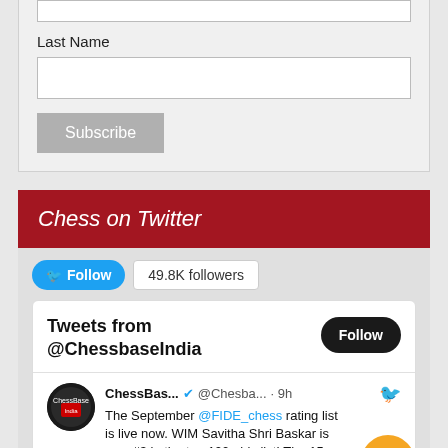Last Name
[Figure (screenshot): Last Name form input field (text input box)]
[Figure (screenshot): Subscribe button (gray rounded rectangle)]
Chess on Twitter
[Figure (screenshot): Twitter Follow button (blue) and 49.8K followers count box]
Tweets from @ChessbaseIndia
[Figure (screenshot): Follow button (dark/black rounded pill)]
[Figure (screenshot): ChessBase India Twitter avatar (circular logo)]
ChessBas... @Chesba... · 9h
The September @FIDE_chess rating list is live now. WIM Savitha Shri Baskar is now #3 in the top 100 girls list! The 15
[Figure (screenshot): Orange email/envelope floating action button]